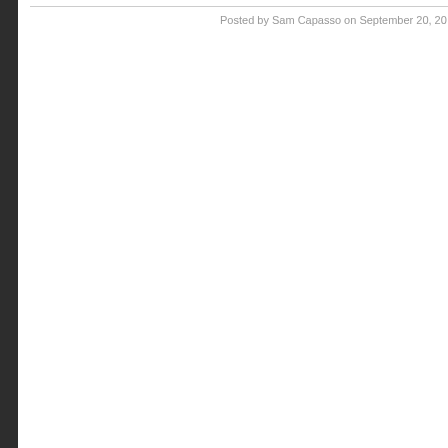Posted by Sam Capasso on September 20, 20